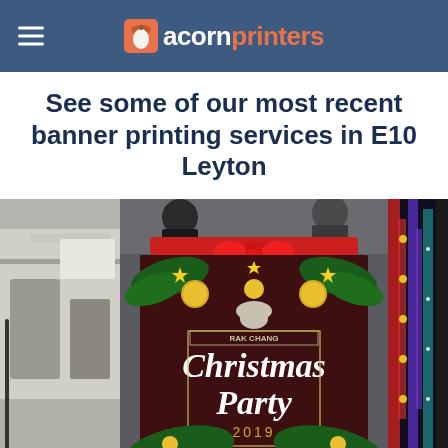acornprinters
See some of our most recent banner printing services in E10 Leyton
[Figure (photo): Three photos side by side showing banner printing services: left photo shows interior of print shop, center photo shows two people holding a Rak Chang Christmas Party 2019 banner, right photo shows colorful banners or decorations.]